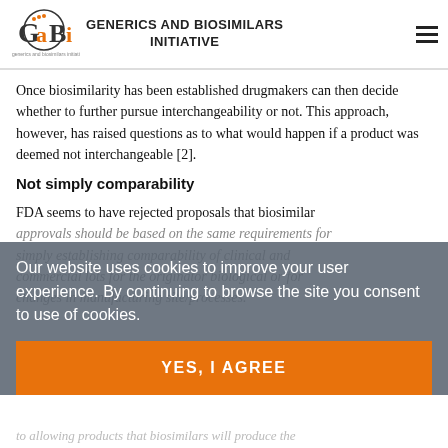GENERICS AND BIOSIMILARS INITIATIVE
Once biosimilarity has been established drugmakers can then decide whether to further pursue interchangeability or not. This approach, however, has raised questions as to what would happen if a product was deemed not interchangeable [2].
Not simply comparability
FDA seems to have rejected proposals that biosimilar approvals should be based on the same requirements for simply establishing comparability of clinical and commercial lots for the originator biological or for changes in manufacturing site/processes.
Our website uses cookies to improve your user experience. By continuing to browse the site you consent to use of cookies.
YES, I AGREE